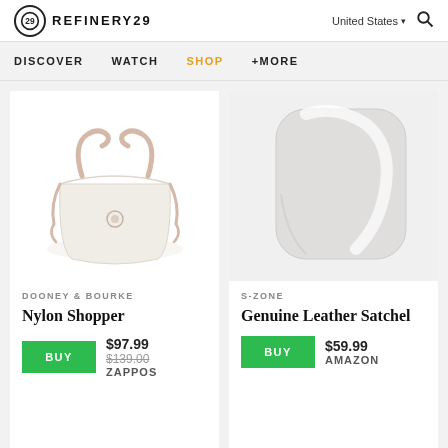REFINERY29 | United States | Search
DISCOVER   WATCH   SHOP   +MORE
[Figure (photo): White nylon tote bag with pink braided handles, by Dooney & Bourke]
DOONEY & BOURKE
Nylon Shopper
BUY $97.99 $139.00 ZAPPOS
[Figure (photo): Light gray leather satchel bag by S-Zone, partially visible]
S-ZONE
Genuine Leather Satchel
BUY $59.99 AMAZON